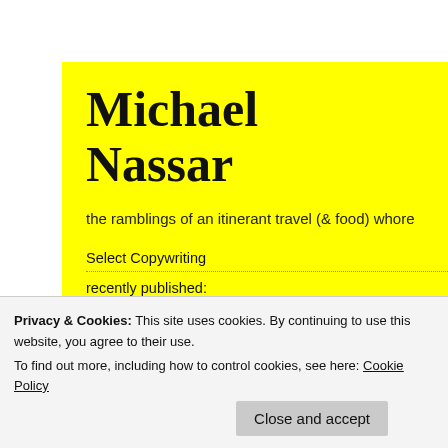Michael Nassar
the ramblings of an itinerant travel (& food) whore
Select Copywriting
recently published:
Spa Magazine
AsiaSpa
NY Daily News
Hemispheres
can be coastline, the Cuy inland c invigorate, Sunshine S
10 YEARS A
asia / cali
asiaspa / c
published /
Privacy & Cookies: This site uses cookies. By continuing to use this website, you agree to their use.
To find out more, including how to control cookies, see here: Cookie Policy